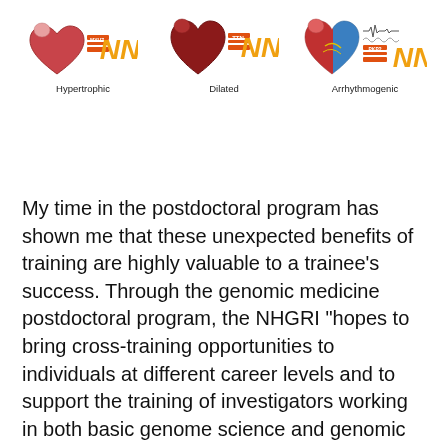[Figure (illustration): Three heart illustrations representing types of cardiomyopathy: Hypertrophic (MYH7 gene, DNA icon), Dilated (TTN gene, DNA icon), Arrhythmogenic (PKP2 gene, DNA icon with ECG trace)]
My time in the postdoctoral program has shown me that these unexpected benefits of training are highly valuable to a trainee's success. Through the genomic medicine postdoctoral program, the NHGRI "hopes to bring cross-training opportunities to individuals at different career levels and to support the training of investigators working in both basic genome science and genomic medicine" as it recognizes that this "is essential to realizing the full potential of genomics."2